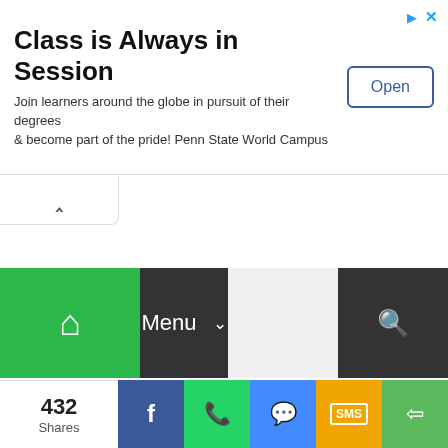[Figure (screenshot): Advertisement banner: 'Class is Always in Session' with Open button, from Penn State World Campus]
Home / MTMIS / Online Vehicle Verification / Punjab Government / Toll Fee / Vehicle Verification / Vehicle Verification in Punjab / Verify Car Documents / Verify Ownership of Cars / New SMS Vehicle Verification Service launched in Punjab
[Figure (screenshot): Social share bar with 432 Shares, Facebook, WhatsApp, Messenger, SMS, and more share buttons]